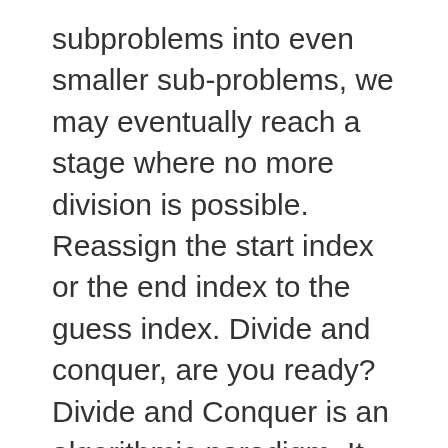subproblems into even smaller sub-problems, we may eventually reach a stage where no more division is possible. Reassign the start index or the end index to the guess index. Divide and conquer, are you ready? Divide and Conquer is an algorithmic paradigm. It seems that there is a temple in India, with three posts with 64 golden disks of decreasing diameter. Divide and Conquer: After stealing a tangerine and watching it split up into different pieces, the Amoeba Boys learn how to multiply and make duplicates of themselves. Each incorrect attempt resetting your guess index to the middle of the newly halved array. We have talked about bubble sort in JavaScript in the past. Divide and